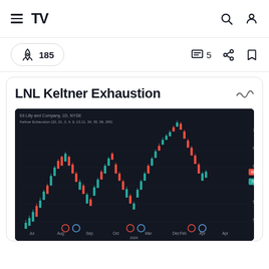TradingView navigation bar with hamburger menu, TV logo, search icon, and user icon
185 boost count, 5 comments, share, bookmark
LNL Keltner Exhaustion
[Figure (continuous-plot): Candlestick chart of Eli Lilly and Company (LLY, NYSE) showing price action with green and red candles, Keltner Exhaustion indicator overlay with colored circles at bottoms indicating exhaustion signals. X-axis shows dates from Jul through Apr. Y-axis shows price levels. Chart has dark background (#131722).]